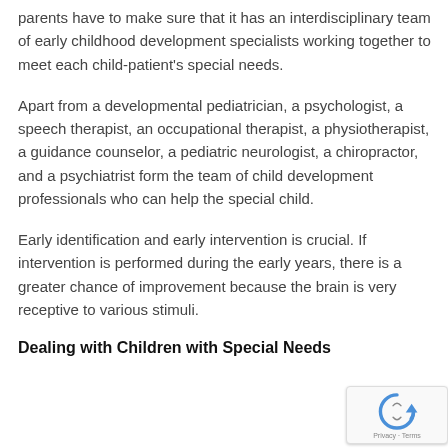parents have to make sure that it has an interdisciplinary team of early childhood development specialists working together to meet each child-patient's special needs.
Apart from a developmental pediatrician, a psychologist, a speech therapist, an occupational therapist, a physiotherapist, a guidance counselor, a pediatric neurologist, a chiropractor, and a psychiatrist form the team of child development professionals who can help the special child.
Early identification and early intervention is crucial. If intervention is performed during the early years, there is a greater chance of improvement because the brain is very receptive to various stimuli.
Dealing with Children with Special Needs
[Figure (other): reCAPTCHA privacy badge in bottom right corner]